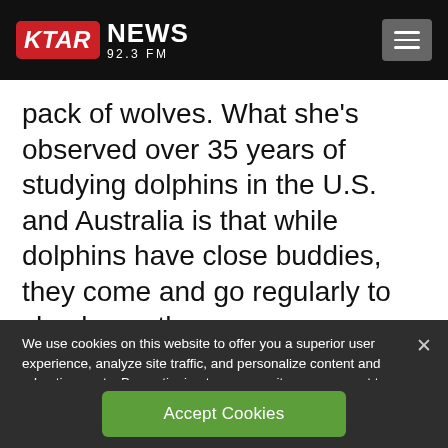[Figure (logo): KTAR News 92.3 FM logo with red badge and hamburger menu icon on black header bar]
pack of wolves. What she's observed over 35 years of studying dolphins in the U.S. and Australia is that while dolphins have close buddies, they come and go regularly to check on others.
We use cookies on this website to offer you a superior user experience, analyze site traffic, and personalize content and advertisements. By continuing to use our site, you consent to our use of cookies. Please visit our Privacy Policy for more information.
Accept Cookies